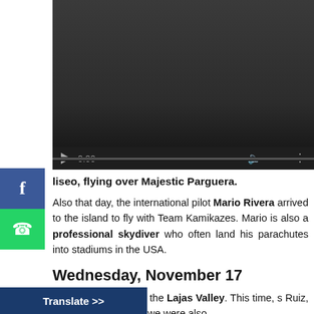[Figure (screenshot): Embedded video player with dark background, showing 0:00 timestamp and playback controls including play button, volume, fullscreen, and more options icons, with a progress bar at bottom.]
liseo, flying over Majestic Parguera.
Also that day, the international pilot Mario Rivera arrived to the island to fly with Team Kamikazes. Mario is also a professional skydiver who often land his parachutes into stadiums in the USA.
Wednesday, November 17
Again we returned to the Lajas Valley. This time, s Ruiz, Eliseo and Jessica, we were also